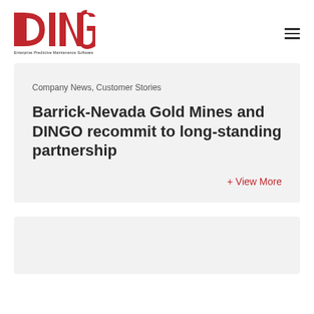[Figure (logo): DINGO logo in red with text 'Enterprise Predictive Maintenance Software' below]
Company News, Customer Stories
Barrick-Nevada Gold Mines and DINGO recommit to long-standing partnership
+ View More
[Figure (other): Second card placeholder with gray background]